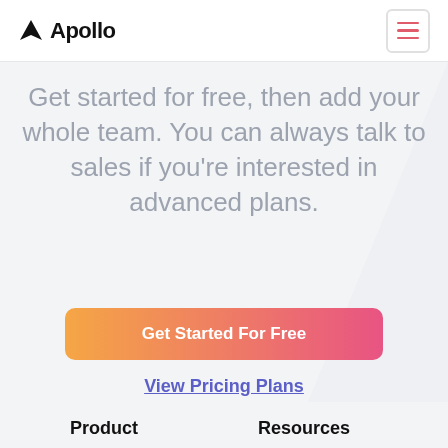Apollo
Get started for free, then add your whole team. You can always talk to sales if you’re interested in advanced plans.
Get Started For Free
View Pricing Plans
Product
Resources
Data
Pricing